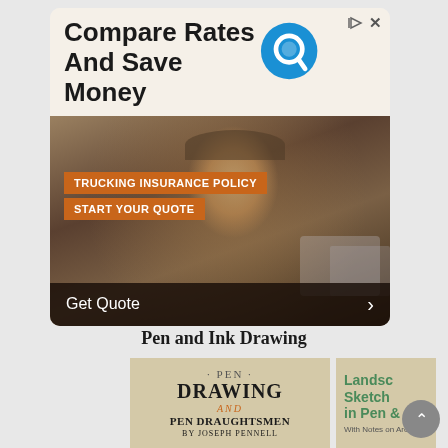[Figure (screenshot): Advertisement banner for trucking insurance comparing rates. Top section shows 'Compare Rates And Save Money' text with a Q logo. Below is a photo of a smiling man in a cap with overlay text 'TRUCKING INSURANCE POLICY' and 'START YOUR QUOTE' in orange banners, and a dark footer bar with 'Get Quote' text and right arrow.]
Pen and Ink Drawing
[Figure (photo): Book cover for 'PEN DRAWING AND PEN DRAUGHTSMEN BY JOSEPH PENNELL' on aged beige paper background]
[Figure (photo): Book cover showing 'Landscape Sketching in Pen & ...' with 'With Notes on Archite...' on beige background]